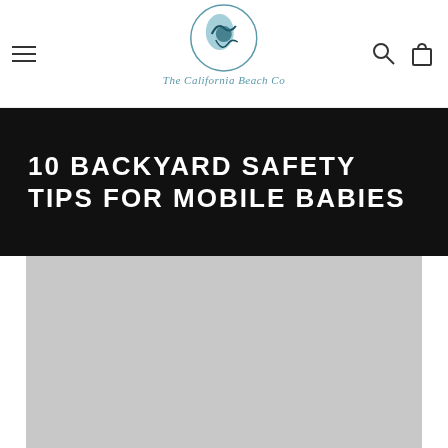The California Beach Co
10 BACKYARD SAFETY TIPS FOR MOBILE BABIES
[Figure (photo): Large placeholder image area, light gray, below the black title banner]